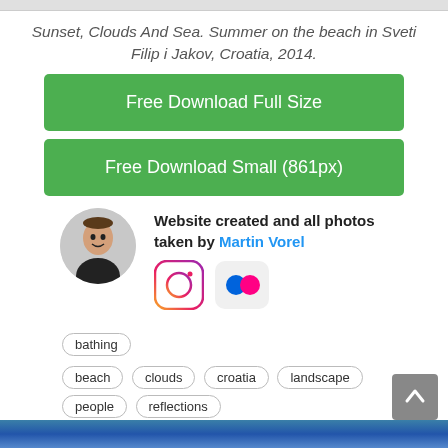Sunset, Clouds And Sea. Summer on the beach in Sveti Filip i Jakov, Croatia, 2014.
Free Download Full Size
Free Download Small (861px)
Website created and all photos taken by Martin Vorel
[Figure (illustration): Author avatar - circular photo of a smiling man]
[Figure (logo): Instagram logo icon]
[Figure (logo): Flickr logo icon]
bathing
beach
clouds
croatia
landscape
people
reflections
sky
summer
sun
sunbathing
sunsets
SPONSORED IMAGES BY ISTOCK: